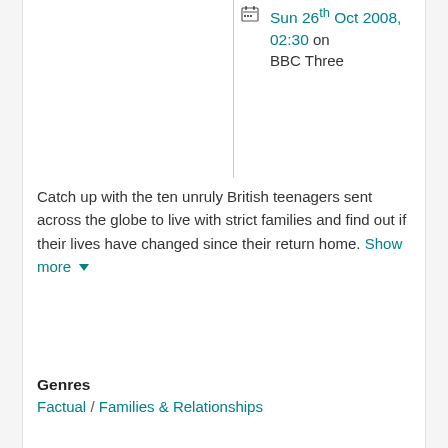Sun 26th Oct 2008, 02:30 on BBC Three
Catch up with the ten unruly British teenagers sent across the globe to live with strict families and find out if their lives have changed since their return home. Show more
Genres
Factual / Families & Relationships
Formats
Documentaries
Brand
The World's Strictest Parents
Series
The World's Strictest Parents: Series 1